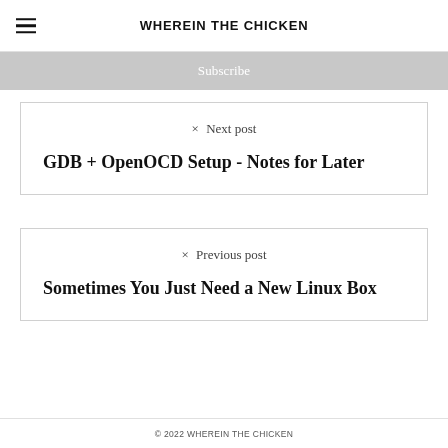WHEREIN THE CHICKEN
Subscribe
✕  Next post
GDB + OpenOCD Setup - Notes for Later
✕  Previous post
Sometimes You Just Need a New Linux Box
© 2022 WHEREIN THE CHICKEN